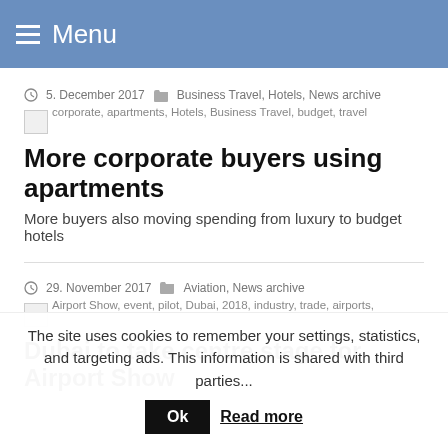Menu
5. December 2017   Business Travel, Hotels, News archive
corporate, apartments, Hotels, Business Travel, budget, travel
More corporate buyers using apartments
More buyers also moving spending from luxury to budget hotels
29. November 2017   Aviation, News archive
Airport Show, event, pilot, Dubai, 2018, industry, trade, airports,
Dubai to take centre stage for Airport Show
The site uses cookies to remember your settings, statistics, and targeting ads. This information is shared with third parties... Ok   Read more